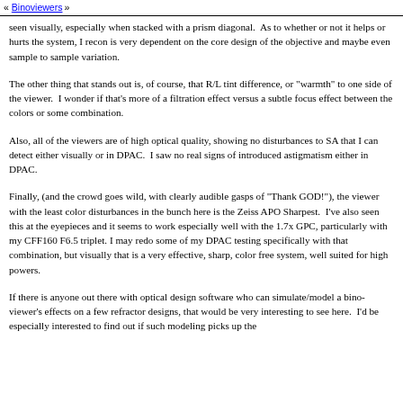« Binoviewers »
seen visually, especially when stacked with a prism diagonal.  As to whether or not it helps or hurts the system, I recon is very dependent on the core design of the objective and maybe even sample to sample variation.
The other thing that stands out is, of course, that R/L tint difference, or "warmth" to one side of the viewer.  I wonder if that's more of a filtration effect versus a subtle focus effect between the colors or some combination.
Also, all of the viewers are of high optical quality, showing no disturbances to SA that I can detect either visually or in DPAC.  I saw no real signs of introduced astigmatism either in DPAC.
Finally, (and the crowd goes wild, with clearly audible gasps of "Thank GOD!"), the viewer with the least color disturbances in the bunch here is the Zeiss APO Sharpest.  I've also seen this at the eyepieces and it seems to work especially well with the 1.7x GPC, particularly with my CFF160 F6.5 triplet. I may redo some of my DPAC testing specifically with that combination, but visually that is a very effective, sharp, color free system, well suited for high powers.
If there is anyone out there with optical design software who can simulate/model a bino-viewer's effects on a few refractor designs, that would be very interesting to see here.  I'd be especially interested to find out if such modeling picks up the